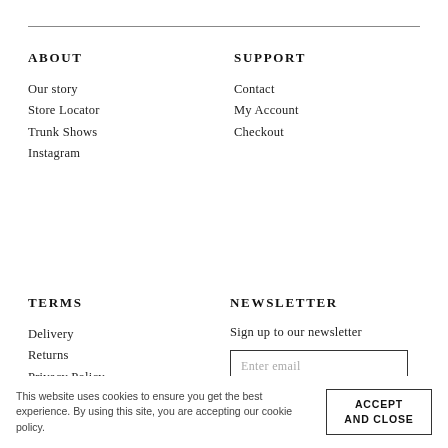ABOUT
Our story
Store Locator
Trunk Shows
Instagram
SUPPORT
Contact
My Account
Checkout
TERMS
Delivery
Returns
Privacy Policy
Terms & Conditions
NEWSLETTER
Sign up to our newsletter
Enter email
SUBSCRIBE
This website uses cookies to ensure you get the best experience. By using this site, you are accepting our cookie policy.
ACCEPT AND CLOSE